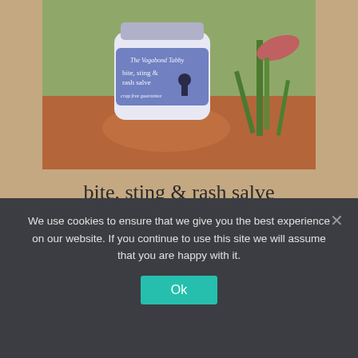[Figure (photo): A glass jar labeled 'The Vagabond Tabby bite, sting & rash salve - crap free guarantee' sitting on red dirt/rock with a plant in the background]
bite, sting & rash salve
$12.00
Add to cart
We use cookies to ensure that we give you the best experience on our website. If you continue to use this site we will assume that you are happy with it.
Ok